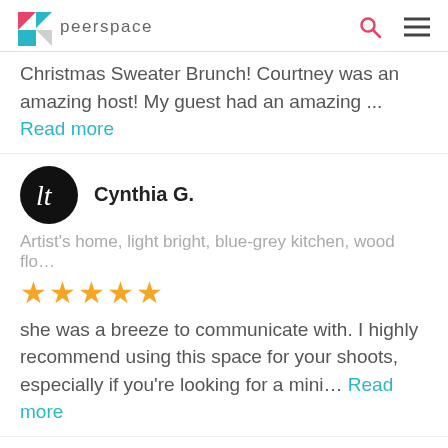peerspace
Christmas Sweater Brunch! Courtney was an amazing host! My guest had an amazing ... Read more
Cynthia G.
Artist's home, light bright, blue-grey kitchen, wood flo...
★★★★★
she was a breeze to communicate with. I highly recommend using this space for your shoots, especially if you're looking for a mini... Read more
Dryssen H.
Large Modern Room with Spacious Balcony and Pool V...